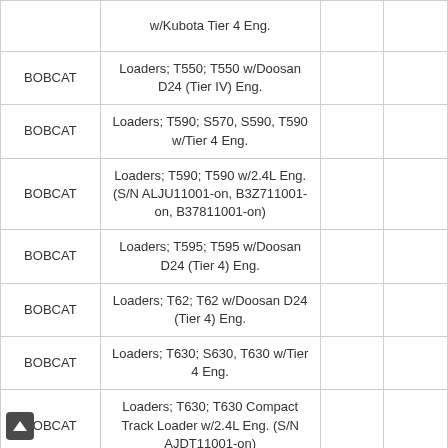| Brand | Description |  |  |
| --- | --- | --- | --- |
|  | w/Kubota Tier 4 Eng. |  |  |
| BOBCAT | Loaders; T550; T550 w/Doosan D24 (Tier IV) Eng. |  |  |
| BOBCAT | Loaders; T590; S570, S590, T590 w/Tier 4 Eng. |  |  |
| BOBCAT | Loaders; T590; T590 w/2.4L Eng. (S/N ALJU11001-on, B3Z711001-on, B37811001-on) |  |  |
| BOBCAT | Loaders; T595; T595 w/Doosan D24 (Tier 4) Eng. |  |  |
| BOBCAT | Loaders; T62; T62 w/Doosan D24 (Tier 4) Eng. |  |  |
| BOBCAT | Loaders; T630; S630, T630 w/Tier 4 Eng. |  |  |
| BOBCAT | Loaders; T630; T630 Compact Track Loader w/2.4L Eng. (S/N AJDT11001-on) |  |  |